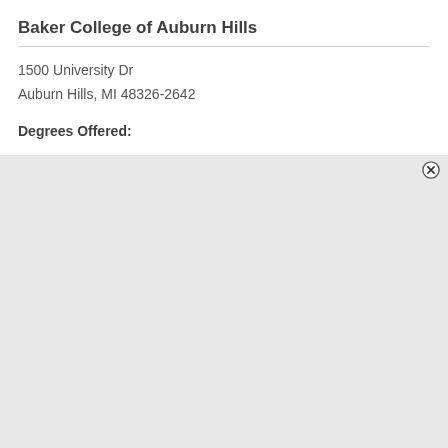Baker College of Auburn Hills
1500 University Dr
Auburn Hills, MI 48326-2642
Degrees Offered: